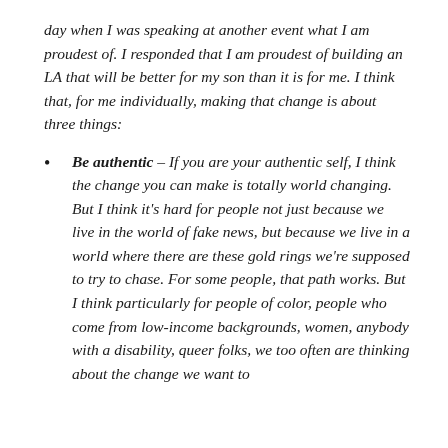day when I was speaking at another event what I am proudest of. I responded that I am proudest of building an LA that will be better for my son than it is for me. I think that, for me individually, making that change is about three things:
Be authentic – If you are your authentic self, I think the change you can make is totally world changing. But I think it's hard for people not just because we live in the world of fake news, but because we live in a world where there are these gold rings we're supposed to try to chase. For some people, that path works. But I think particularly for people of color, people who come from low-income backgrounds, women, anybody with a disability, queer folks, we too often are thinking about the change we want to